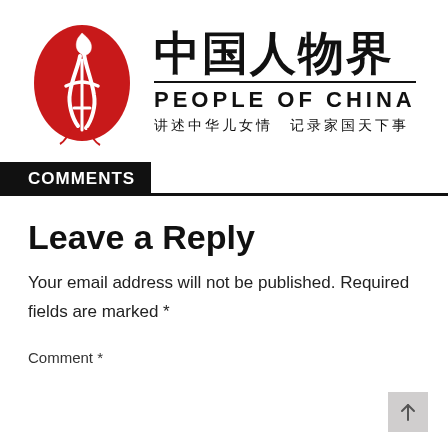[Figure (logo): People of China magazine logo: red abstract figure/rooster shape on left, Chinese calligraphy title 中国人物界 on top right, PEOPLE OF CHINA in bold below, subtitle 讲述中华儿女情 记录家国天下事 at bottom right]
COMMENTS
Leave a Reply
Your email address will not be published. Required fields are marked *
Comment *